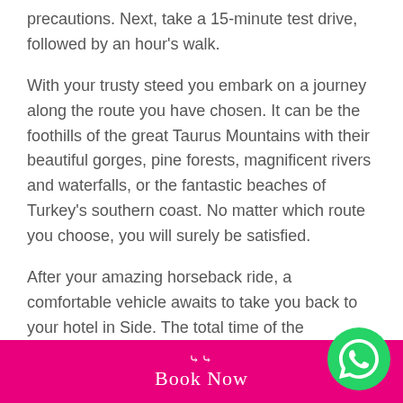precautions. Next, take a 15-minute test drive, followed by an hour's walk.
With your trusty steed you embark on a journey along the route you have chosen. It can be the foothills of the great Taurus Mountains with their beautiful gorges, pine forests, magnificent rivers and waterfalls, or the fantastic beaches of Turkey's southern coast. No matter which route you choose, you will surely be satisfied.
After your amazing horseback ride, a comfortable vehicle awaits to take you back to your hotel in Side. The total time of the excursion is about 3 hours.
Book Now